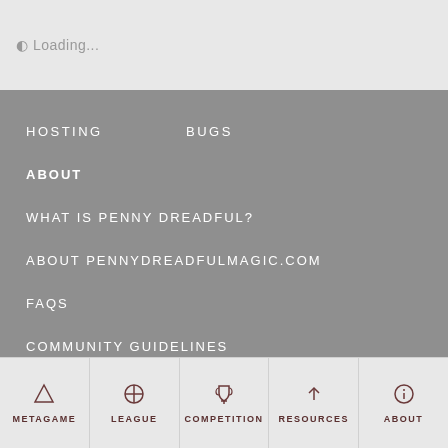Loading...
HOSTING
BUGS
ABOUT
WHAT IS PENNY DREADFUL?
ABOUT PENNYDREADFULMAGIC.COM
FAQS
COMMUNITY GUIDELINES
METAGAME  LEAGUE  COMPETITION  RESOURCES  ABOUT